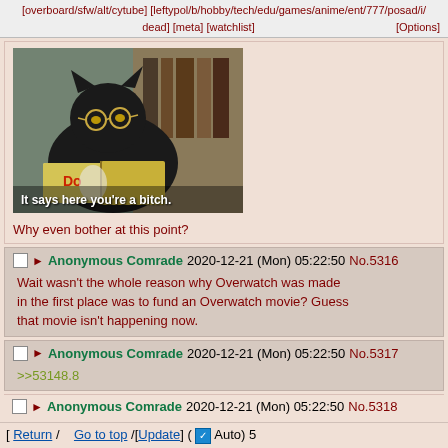[overboard/sfw/alt/cytube] [leftypol/b/hobby/tech/edu/games/anime/ent/777/posad/i/dead/meta/watchlist] [Options]
[Figure (photo): Black cat wearing glasses reading a book meme with caption: It says here you're a bitch.]
Why even bother at this point?
Anonymous Comrade 2020-12-21 (Mon) 05:22:50 No.5316
Wait wasn't the whole reason why Overwatch was made in the first place was to fund an Overwatch movie? Guess that movie isn't happening now.
Anonymous Comrade 2020-12-21 (Mon) 05:22:50 No.5317
>>53148.8
Anonymous Comrade 2020-12-21 (Mon) 05:22:50 No.5318
[ Return / Go to top /[Update] ( ✓ Auto) 5